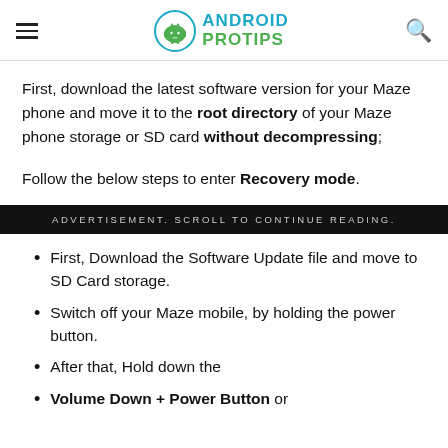ANDROID PROTIPS
First, download the latest software version for your Maze phone and move it to the root directory of your Maze phone storage or SD card without decompressing;
Follow the below steps to enter Recovery mode.
ADVERTISEMENT. SCROLL TO CONTINUE READING.
First, Download the Software Update file and move to SD Card storage.
Switch off your Maze mobile, by holding the power button.
After that, Hold down the
Volume Down + Power Button or